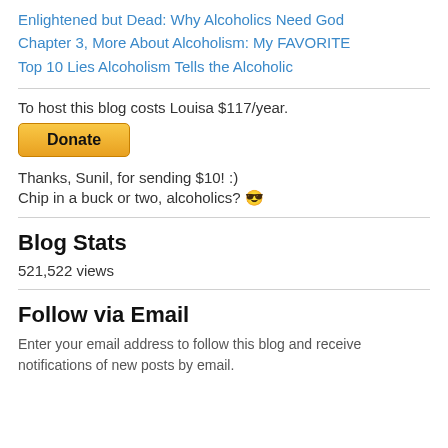Enlightened but Dead: Why Alcoholics Need God
Chapter 3, More About Alcoholism: My FAVORITE
Top 10 Lies Alcoholism Tells the Alcoholic
To host this blog costs Louisa $117/year.
[Figure (other): Donate button - orange/yellow gradient button with text 'Donate']
Thanks, Sunil, for sending $10! :)
Chip in a buck or two, alcoholics? 😎
Blog Stats
521,522 views
Follow via Email
Enter your email address to follow this blog and receive notifications of new posts by email.